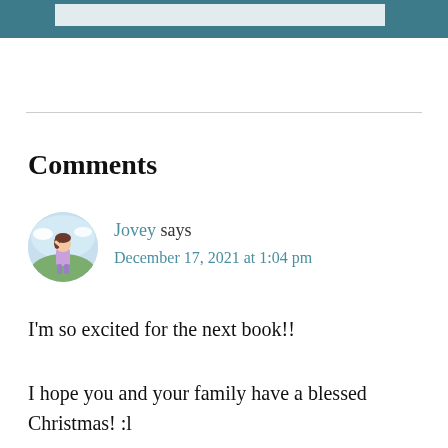Comments
Jovey says
December 17, 2021 at 1:04 pm
I'm so excited for the next book!!
I hope you and your family have a blessed Christmas! :l